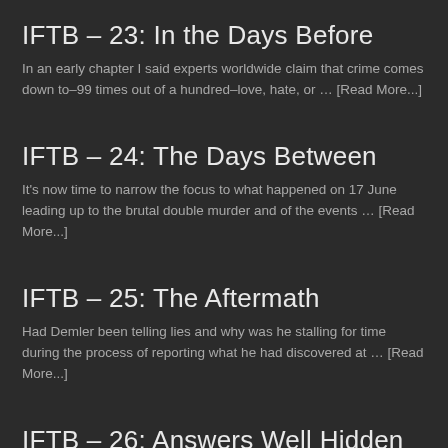IFTB – 23: In the Days Before
In an early chapter I said experts worldwide claim that crime comes down to–99 times out of a hundred–love, hate, or … [Read More...]
IFTB – 24: The Days Between
It's now time to narrow the focus to what happened on 17 June leading up to the brutal double murder and of the events … [Read More...]
IFTB – 25: The Aftermath
Had Demler been telling lies and why was he stalling for time during the process of reporting what he had discovered at … [Read More...]
IFTB – 26: Answers Well Hidden